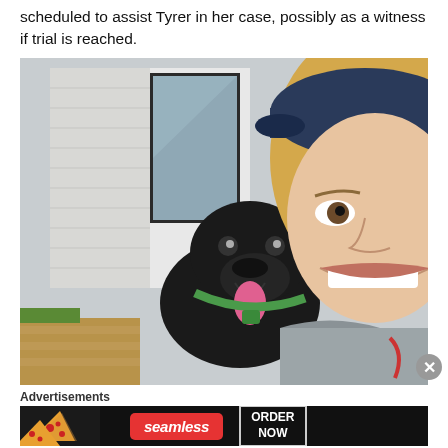scheduled to assist Tyrer in her case, possibly as a witness if trial is reached.
[Figure (photo): A selfie photo of a young woman wearing a baseball cap and gray hoodie, smiling, with a black Labrador dog with its tongue out and a green collar, taken on a porch or outdoor area.]
Advertisements
[Figure (other): Advertisement banner for Seamless food delivery service showing pizza slices on the left, the Seamless logo in red, and an ORDER NOW button on a dark background.]